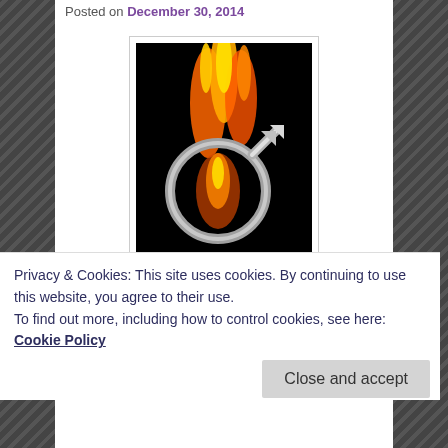Posted on December 30, 2014
[Figure (illustration): A male Mars symbol rendered in metallic silver with orange and yellow flames rising behind and through it, on a black background.]
Happy Tuesday!
I hope today is a good one for everyone. Only a few more days left in 2014! Not sure why that sounds
Privacy & Cookies: This site uses cookies. By continuing to use this website, you agree to their use.
To find out more, including how to control cookies, see here:
Cookie Policy
Close and accept